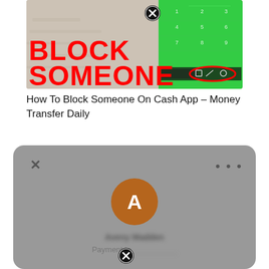[Figure (screenshot): Thumbnail image showing 'BLOCK SOMEONE' text in red on a textured background, with a phone showing a green keypad on the right side, and a close (X) button overlay. A red oval circles some icons on the phone screen.]
How To Block Someone On Cash App – Money Transfer Daily
[Figure (screenshot): A Cash App modal dialog on a gray background showing an X close button top-left, three dots top-right, a brown circular avatar with letter A, a blurred name (Avery Madden), text 'Payment to [blurred]', and a close (X) button at the bottom.]